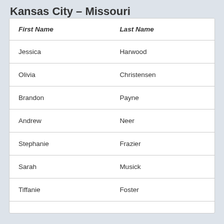Kansas City – Missouri
| First Name | Last Name |
| --- | --- |
| Jessica | Harwood |
| Olivia | Christensen |
| Brandon | Payne |
| Andrew | Neer |
| Stephanie | Frazier |
| Sarah | Musick |
| Tiffanie | Foster |
| … | … |